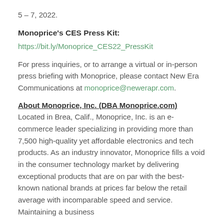5 – 7, 2022.
Monoprice's CES Press Kit:
https://bit.ly/Monoprice_CES22_PressKit
For press inquiries, or to arrange a virtual or in-person press briefing with Monoprice, please contact New Era Communications at monoprice@newerapr.com.
About Monoprice, Inc. (DBA Monoprice.com)
Located in Brea, Calif., Monoprice, Inc. is an e-commerce leader specializing in providing more than 7,500 high-quality yet affordable electronics and tech products. As an industry innovator, Monoprice fills a void in the consumer technology market by delivering exceptional products that are on par with the best-known national brands at prices far below the retail average with incomparable speed and service. Maintaining a business